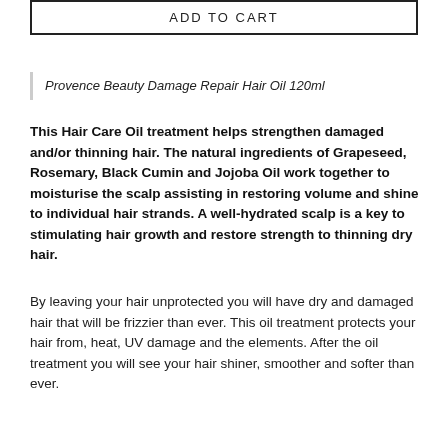ADD TO CART
Provence Beauty Damage Repair Hair Oil 120ml
This Hair Care Oil treatment helps strengthen damaged and/or thinning hair. The natural ingredients of Grapeseed, Rosemary, Black Cumin and Jojoba Oil work together to moisturise the scalp assisting in restoring volume and shine to individual hair strands. A well-hydrated scalp is a key to stimulating hair growth and restore strength to thinning dry hair.
By leaving your hair unprotected you will have dry and damaged hair that will be frizzier than ever. This oil treatment protects your hair from, heat, UV damage and the elements. After the oil treatment you will see your hair shiner, smoother and softer than ever.